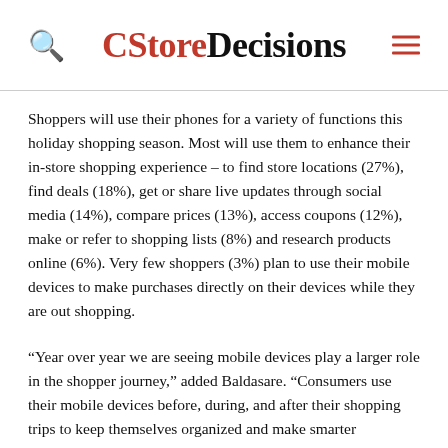CStoreDecisions
Shoppers will use their phones for a variety of functions this holiday shopping season. Most will use them to enhance their in-store shopping experience – to find store locations (27%), find deals (18%), get or share live updates through social media (14%), compare prices (13%), access coupons (12%), make or refer to shopping lists (8%) and research products online (6%). Very few shoppers (3%) plan to use their mobile devices to make purchases directly on their devices while they are out shopping.
“Year over year we are seeing mobile devices play a larger role in the shopper journey,” added Baldasare. “Consumers use their mobile devices before, during, and after their shopping trips to keep themselves organized and make smarter purchases. As